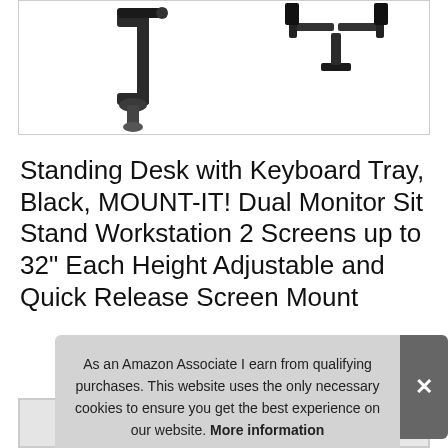[Figure (photo): Product image box showing a C-clamp mount on the left and a dual monitor mount (black) on the upper right, on white background with border]
Standing Desk with Keyboard Tray, Black, MOUNT-IT! Dual Monitor Sit Stand Workstation 2 Screens up to 32" Each Height Adjustable and Quick Release Screen Mount
#ad
As an Amazon Associate I earn from qualifying purchases. This website uses the only necessary cookies to ensure you get the best experience on our website. More information
[Figure (photo): Bottom strip of small product thumbnail images]